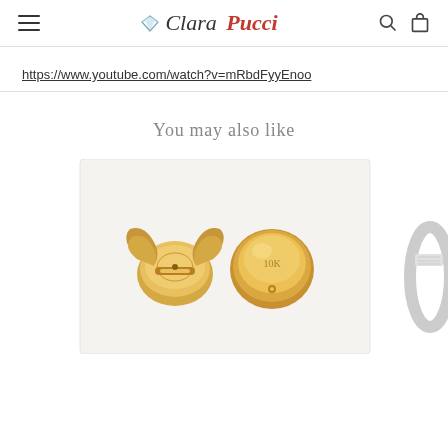Clara Pucci — navigation header with hamburger menu, logo, search and cart icons
https://www.youtube.com/watch?v=mRbdFyyEnoo
You may also like
[Figure (photo): Two gold earring backs/nuts shown from behind — one with open butterfly clasp and one round dome-shaped, both in yellow gold, displayed against a light background. Partial view of a silver diamond ring on the right edge.]